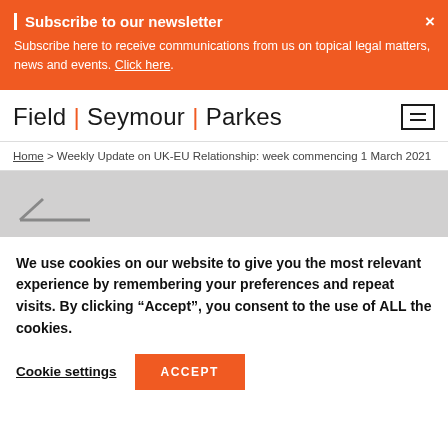Subscribe to our newsletter
Subscribe here to receive communications from us on topical legal matters, news and events. Click here.
[Figure (logo): Field | Seymour | Parkes law firm logo with orange pipe separators]
Home > Weekly Update on UK-EU Relationship: week commencing 1 March 2021
[Figure (other): Gray banner area with back arrow navigation element]
We use cookies on our website to give you the most relevant experience by remembering your preferences and repeat visits. By clicking "Accept", you consent to the use of ALL the cookies.
Cookie settings    ACCEPT